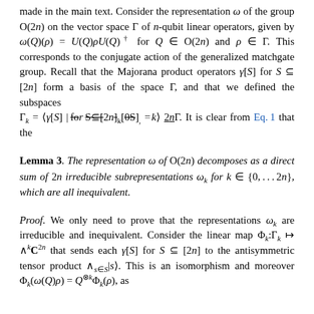made in the main text. Consider the representation ω of the group O(2n) on the vector space Γ of n-qubit linear operators, given by ω(Q)(ρ) = U(Q)ρU(Q)† for Q ∈ O(2n) and ρ ∈ Γ. This corresponds to the conjugate action of the generalized matchgate group. Recall that the Majorana product operators γ[S] for S ⊆ [2n] form a basis of the space Γ, and that we defined the subspaces Γ_k = ⟨γ[S] | for S ⊆ [2n], |S| = k⟩ ⊆ Γ. It is clear from Eq. 1 that the
Lemma 3. The representation ω of O(2n) decomposes as a direct sum of 2n irreducible subrepresentations ω_k for k ∈ {0,...2n}, which are all inequivalent.
Proof. We only need to prove that the representations ω_k are irreducible and inequivalent. Consider the linear map Φ_k:Γ_k → ∧^k C^{2n} that sends each γ[S] for S ⊆ [2n] to the antisymmetric tensor product ∧_{s∈S}|s⟩. This is an isomorphism and moreover Φ_k(ω(Q)ρ) = Q^{⊗k}Φ_k(ρ), as